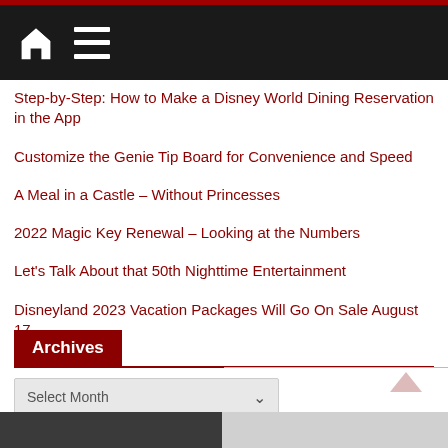Navigation bar with home and menu icons
Step-by-Step: How to Make a Disney World Dining Reservation in the App
Customize the Genie Tip Board for Convenience and Speed
A Meal in a Castle – Without Princesses
2022 Magic Key Renewal – Looking at the Numbers
Let's Talk About that 50th Nighttime Entertainment
Disneyland 2023 Vacation Packages Will Go On Sale August 17
Archives
Select Month